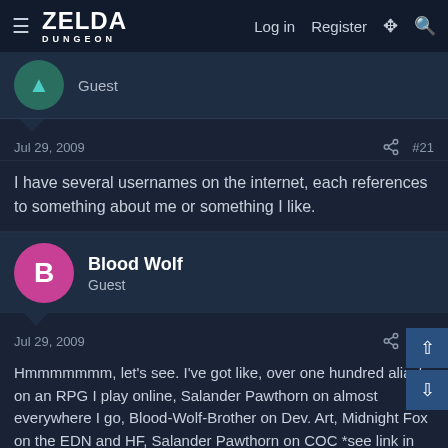Zelda Dungeon — Log in  Register
Guest
Jul 29, 2009  #21
I have several usernames on the internet, each references to something about me or something I like.
Blood Wolf
Guest
Jul 29, 2009  #22
Hmmmmmmm, let's see. I've got like, over one hundred alias' on an RPG I play online, Salander Pawthorn on almost everywhere I go, Blood-Wolf-Brother on Dev. Art, Midnight Fox on the EDN and HF, Salander Pawthorn on COC *see link in sig for COC*, Midnight Fox for my artists' Forum Board Amaryllis Blossoming, hmmmmmm, Blood Wolf here. Oh, Silent Whisperer on a Silent Hill Board, Matthew Church on a Silent